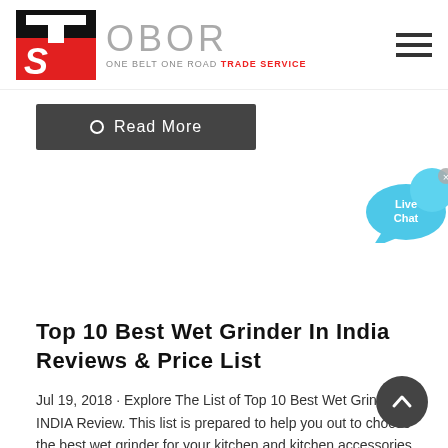OBOR - ONE BELT ONE ROAD TRADE SERVICE
[Figure (screenshot): Read More button - dark grey rounded rectangle with circle icon]
[Figure (illustration): Live Chat speech bubble icon in cyan/blue with X close button]
Top 10 Best Wet Grinder In India Reviews & Price List
Jul 19, 2018 · Explore The List of Top 10 Best Wet Grinder in INDIA Review. This list is prepared to help you out to choose the best wet grinder for your kitchen and kitchen accessories the top-rated kind of